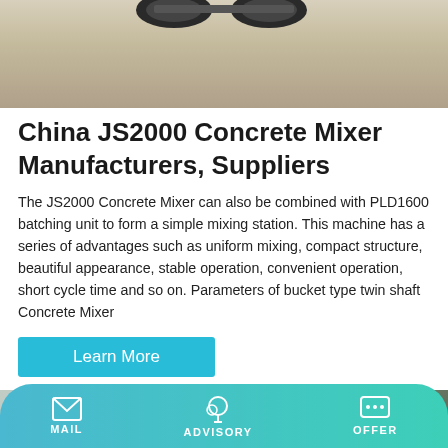[Figure (photo): Top portion of a concrete mixer machine showing wheels/tires on gravel/aggregate ground]
China JS2000 Concrete Mixer Manufacturers, Suppliers
The JS2000 Concrete Mixer can also be combined with PLD1600 batching unit to form a simple mixing station. This machine has a series of advantages such as uniform mixing, compact structure, beautiful appearance, stable operation, convenient operation, short cycle time and so on. Parameters of bucket type twin shaft Concrete Mixer
[Figure (photo): Bottom photo showing industrial machinery/concrete mixer equipment at what appears to be a factory or exhibition hall, with a red banner with Chinese characters visible]
MAIL   ADVISORY   OFFER